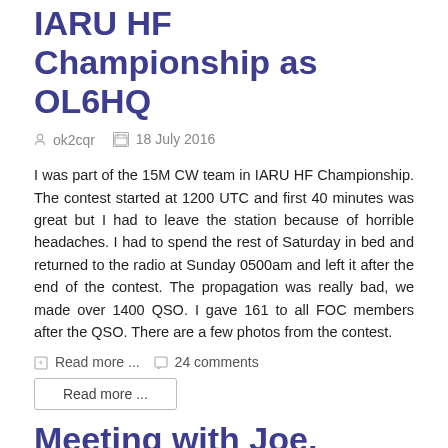IARU HF Championship as OL6HQ
ok2cqr  18 July 2016
I was part of the 15M CW team in IARU HF Championship. The contest started at 1200 UTC and first 40 minutes was great but I had to leave the station because of horrible headaches. I had to spend the rest of Saturday in bed and returned to the radio at Sunday 0500am and left it after the end of the contest. The propagation was really bad, we made over 1400 QSO.  I gave 161 to all FOC members after the QSO. There are a few photos from the contest.
Read more ...  24 comments
Read more ...
Meeting with Joe, WC4R
ok2cqr  11 July 2016